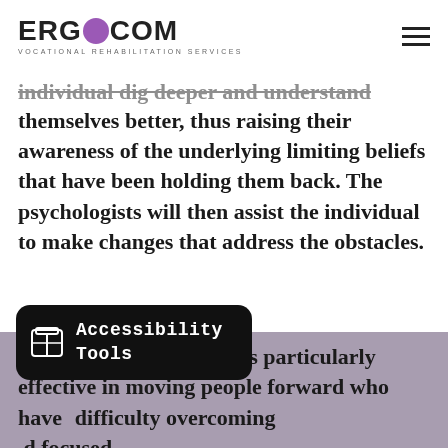ERGOCOM VOCATIONAL REHABILITATION SERVICES
individual dig deeper and understand themselves better, thus raising their awareness of the underlying limiting beliefs that have been holding them back. The psychologists will then assist the individual to make changes that address the obstacles. The coaching approach is particularly effective in moving people forward who have difficulty overcoming ... and focused ... such individuals to progress more rapidly into work.
[Figure (other): Accessibility Tools tooltip overlay with box icon]